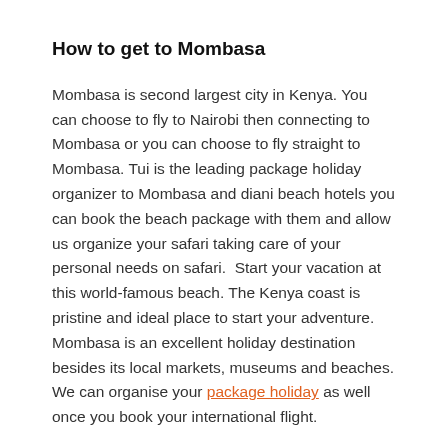How to get to Mombasa
Mombasa is second largest city in Kenya. You can choose to fly to Nairobi then connecting to Mombasa or you can choose to fly straight to Mombasa. Tui is the leading package holiday organizer to Mombasa and diani beach hotels you can book the beach package with them and allow us organize your safari taking care of your personal needs on safari.  Start your vacation at this world-famous beach. The Kenya coast is pristine and ideal place to start your adventure. Mombasa is an excellent holiday destination besides its local markets, museums and beaches. We can organise your package holiday as well once you book your international flight.
The Coastal Region and its surrounding beaches are also a great point for safaris throughout Kenya. Beginning and returning to Mombasa and Bamburi Beach, Shanzu Beach , Nyali Beach , Kilifi Beach, Kikambala Beach, Diani Beach or Tiwi Beach Hotel. You can choose to fly